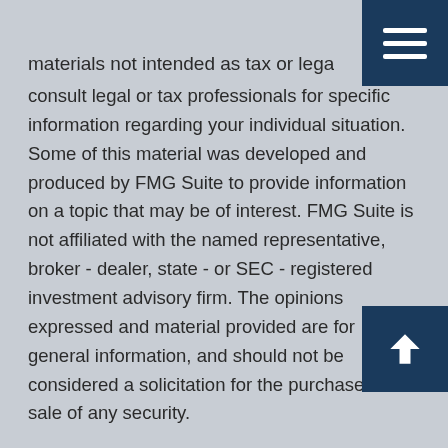materials not intended as tax or legal advice. Please consult legal or tax professionals for specific information regarding your individual situation. Some of this material was developed and produced by FMG Suite to provide information on a topic that may be of interest. FMG Suite is not affiliated with the named representative, broker - dealer, state - or SEC - registered investment advisory firm. The opinions expressed and material provided are for general information, and should not be considered a solicitation for the purchase or sale of any security.

We take protecting your data and privacy very seriously. As of January 1, 2020 the California Consumer Privacy Act (CCPA) suggests the following link as an extra measure to